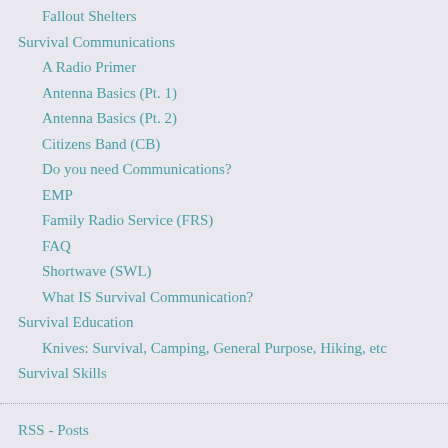Fallout Shelters
Survival Communications
A Radio Primer
Antenna Basics (Pt. 1)
Antenna Basics (Pt. 2)
Citizens Band (CB)
Do you need Communications?
EMP
Family Radio Service (FRS)
FAQ
Shortwave (SWL)
What IS Survival Communication?
Survival Education
Knives: Survival, Camping, General Purpose, Hiking, etc
Survival Skills
RSS - Posts
RSS - Comments
MOST VIEWED FROM THIS BLOG